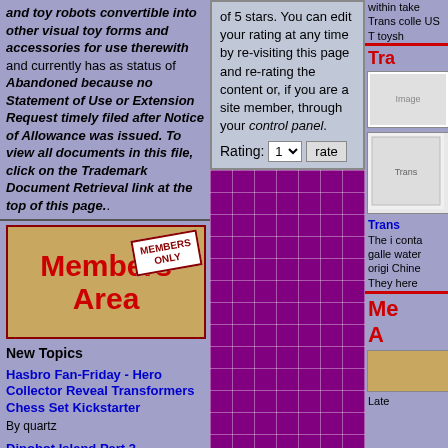and toy robots convertible into other visual toy forms and accessories for use therewith and currently has as status of Abandoned because no Statement of Use or Extension Request timely filed after Notice of Allowance was issued. To view all documents in this file, click on the Trademark Document Retrieval link at the top of this page..
of 5 stars. You can edit your rating at any time by re-visiting this page and re-rating the content or, if you are a site member, through your control panel. Rating: 1 [dropdown] rate
[Figure (other): Members Area banner image with 'MEMBERS ONLY' badge]
New Topics
Hasbro Fan-Friday - Hero Collector Reveal Transformers Chess Set Kickstarter
By quartz
Dinobot Island Part 2 -
within take Trans colle US T toysh
Tra
[Figure (photo): Small Transformers related image top right]
[Figure (photo): Transformers book/comic image]
Trans
The i conta galle water origi Chine They here
[Figure (other): Me A - Members Area partial image bottom right]
Late